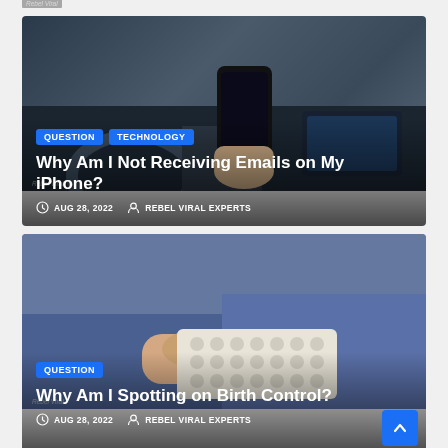[Figure (photo): Person holding iPhone in car interior, dashboard visible]
Why Am I Not Receiving Emails on My iPhone?
AUG 28, 2022   REBEL VIRAL EXPERTS
[Figure (photo): Person in blue shirt holding blister pack of birth control pills]
Why Am I Spotting on Birth Control?
AUG 28, 2022   REBEL VIRAL EXPERTS